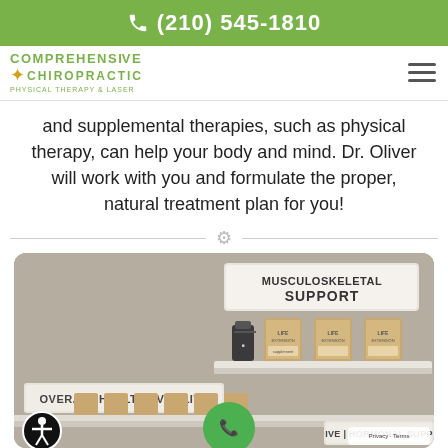(210) 545-1810
[Figure (logo): Comprehensive Chiropractic Physical Therapy & Laser logo]
and supplemental therapies, such as physical therapy, can help your body and mind. Dr. Oliver will work with you and formulate the proper, natural treatment plan for you!
[Figure (photo): Supplement shelf display with sections labeled MUSCULOSKELETAL SUPPORT, OVERALL HEALTH | VITALITY, and partially visible IVE | HORMONAL SUPP label. Various supplement bottles and packages are displayed on white shelves.]